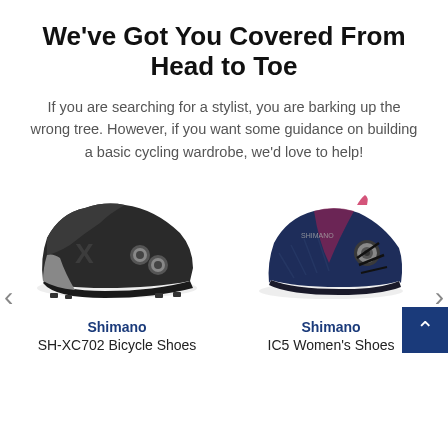We've Got You Covered From Head to Toe
If you are searching for a stylist, you are barking up the wrong tree. However, if you want some guidance on building a basic cycling wardrobe, we'd love to help!
[Figure (photo): Black Shimano SH-XC702 Bicycle Shoes, a mountain biking shoe with dual BOA dials and cleat studs on the sole, viewed from the side.]
Shimano
SH-XC702 Bicycle Shoes
[Figure (photo): Navy blue Shimano IC5 Women's Shoes, indoor cycling shoe with BOA dial and pink pull tab, viewed from the side.]
Shimano
IC5 Women's Shoes